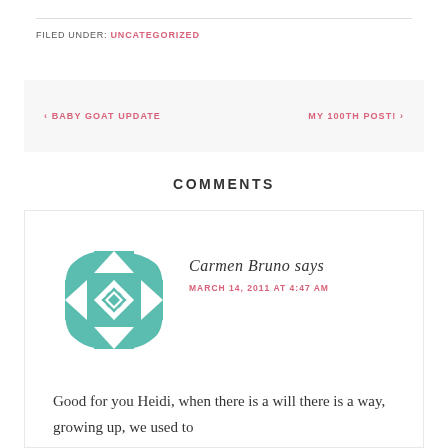FILED UNDER: UNCATEGORIZED
‹ BABY GOAT UPDATE    MY 100TH POST! ›
COMMENTS
Carmen Bruno says
MARCH 14, 2011 AT 4:47 AM
Good for you Heidi, when there is a will there is a way, growing up, we used to